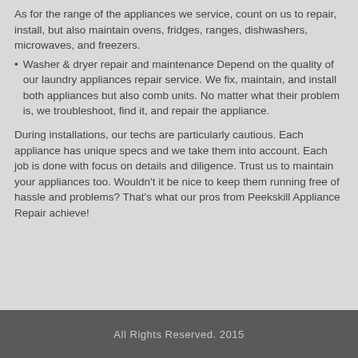As for the range of the appliances we service, count on us to repair, install, but also maintain ovens, fridges, ranges, dishwashers, microwaves, and freezers.
Washer & dryer repair and maintenance Depend on the quality of our laundry appliances repair service. We fix, maintain, and install both appliances but also comb units. No matter what their problem is, we troubleshoot, find it, and repair the appliance.
During installations, our techs are particularly cautious. Each appliance has unique specs and we take them into account. Each job is done with focus on details and diligence. Trust us to maintain your appliances too. Wouldn't it be nice to keep them running free of hassle and problems? That's what our pros from Peekskill Appliance Repair achieve!
All Rights Reserved. 2015